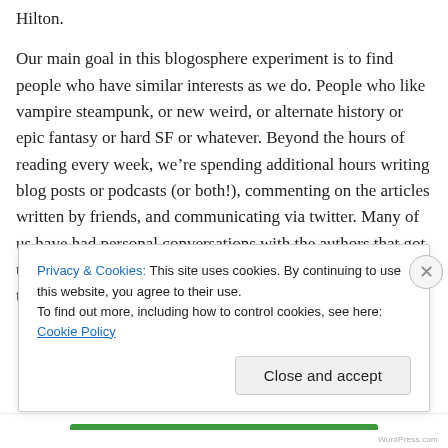Hilton.

Our main goal in this blogosphere experiment is to find people who have similar interests as we do. People who like vampire steampunk, or new weird, or alternate history or epic fantasy or hard SF or whatever. Beyond the hours of reading every week, we're spending additional hours writing blog posts or podcasts (or both!), commenting on the articles written by friends, and communicating via twitter. Many of us have had personal conversations with the authors that got us addicted to our genre of choice in the first place. We send fan mail, we go to conventions
Privacy & Cookies: This site uses cookies. By continuing to use this website, you agree to their use.
To find out more, including how to control cookies, see here: Cookie Policy
Close and accept